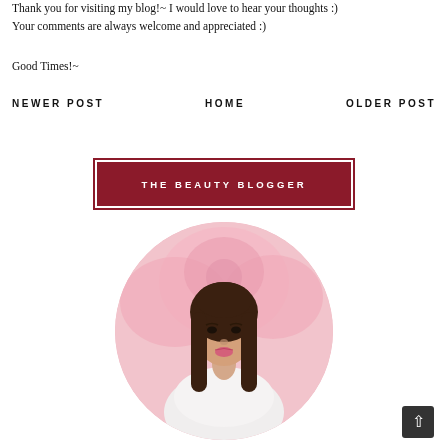Thank you for visiting my blog!~ I would love to hear your thoughts :) Your comments are always welcome and appreciated :)
Good Times!~
NEWER POST
HOME
OLDER POST
THE BEAUTY BLOGGER
[Figure (photo): Circular portrait photo of a young Asian woman with long straight brown hair, wearing a white top, posed against a pink floral background.]